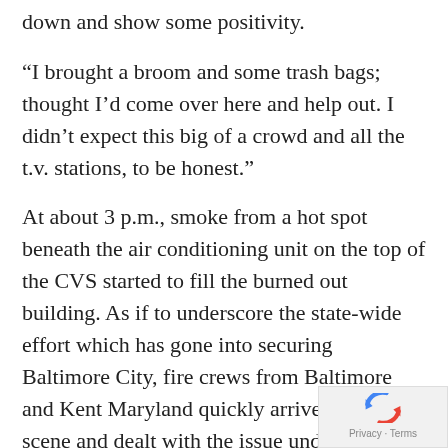down and show some positivity.
“I brought a broom and some trash bags; thought I’d come over here and help out. I didn’t expect this big of a crowd and all the t.v. stations, to be honest.”
At about 3 p.m., smoke from a hot spot beneath the air conditioning unit on the top of the CVS started to fill the burned out building. As if to underscore the state-wide effort which has gone into securing Baltimore City, fire crews from Baltimore and Kent Maryland quickly arrived on the scene and dealt with the issue under the watchful eye of a fire chief from Howard County.
A few blocks south of the burned out CVS, an impromptu prayer circle gathered. The circle